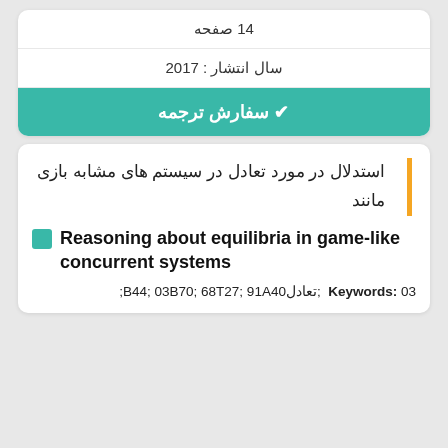14 صفحه
سال انتشار : 2017
✔ سفارش ترجمه
استدلال در مورد تعادل در سیستم های مشابه بازی مانند
Reasoning about equilibria in game-like concurrent systems
Keywords: 03  ;تعادلB44; 03B70; 68T27; 91A40;